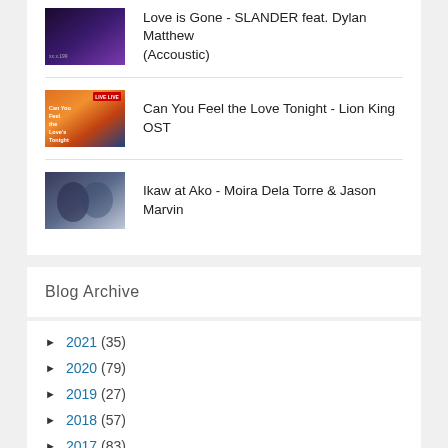Love is Gone - SLANDER feat. Dylan Matthew (Accoustic)
Can You Feel the Love Tonight - Lion King OST
Ikaw at Ako - Moira Dela Torre & Jason Marvin
Blog Archive
► 2021 (35)
► 2020 (79)
► 2019 (27)
► 2018 (57)
► 2017 (83)